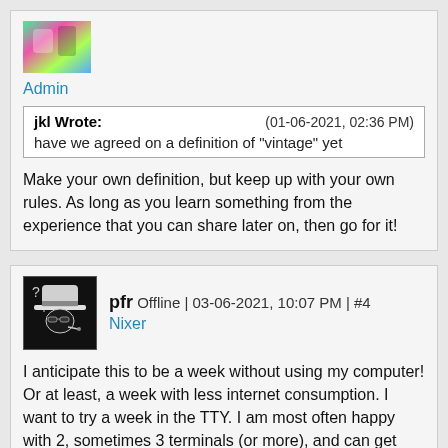[Figure (photo): Colorful abstract avatar image for Admin user]
Admin
| jkl Wrote: | (01-06-2021, 02:36 PM) |
| have we agreed on a definition of "vintage" yet |  |
Make your own definition, but keep up with your own rules. As long as you learn something from the experience that you can share later on, then go for it!
[Figure (illustration): Black and white avatar of a character wearing a hat and smoking, with a question mark above]
pfr Offline | 03-06-2021, 10:07 PM | #4
Nixer
I anticipate this to be a week without using my computer! Or at least, a week with less internet consumption. I want to try a week in the TTY. I am most often happy with 2, sometimes 3 terminals (or more), and can get things done from